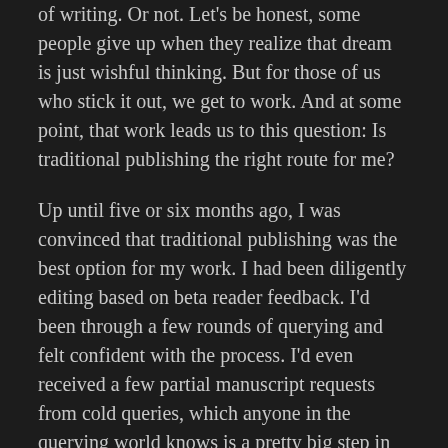of writing. Or not. Let's be honest, some people give up when they realize that dream is just wishful thinking. But for those of us who stick it out, we get to work. And at some point, that work leads us to this question: Is traditional publishing the right route for me?
Up until five or six months ago, I was convinced that traditional publishing was the best option for my work. I had been diligently editing based on beta reader feedback. I'd been through a few rounds of querying and felt confident with the process. I'd even received a few partial manuscript requests from cold queries, which anyone in the querying world knows is a pretty big step in the right direction. It's not a full, and it's not an R&R, but it means your query is likely doing its job. And then I pitched at a writer's conference to an agent who was really, really excited about the concept I was pitching. I eagerly ran through a final polish of my query materials, sent the query through the form she'd told me to use, and waited to hear back — sure of